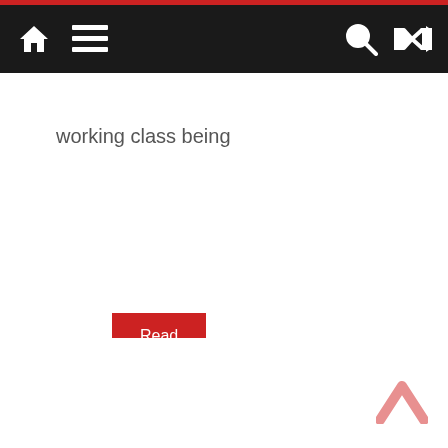Navigation bar with home, menu, search, and shuffle icons
working class being
Read more